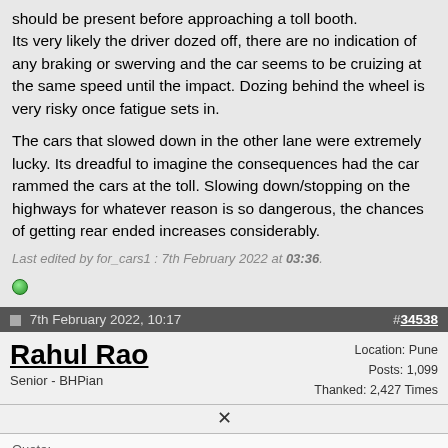should be present before approaching a toll booth. Its very likely the driver dozed off, there are no indication of any braking or swerving and the car seems to be cruizing at the same speed until the impact. Dozing behind the wheel is very risky once fatigue sets in.

The cars that slowed down in the other lane were extremely lucky. Its dreadful to imagine the consequences had the car rammed the cars at the toll. Slowing down/stopping on the highways for whatever reason is so dangerous, the chances of getting rear ended increases considerably.
Last edited by for_cars1 : 7th February 2022 at 03:36.
7th February 2022, 10:17  #34538
Rahul Rao
Senior - BHPian
Location: Pune
Posts: 1,099
Thanked: 2,427 Times
Quote:
Originally Posted by deathwalkr
And what caused that sudden swerve before the inevitable fall?